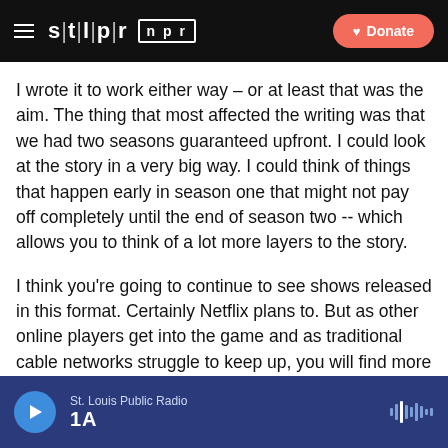STLPR NPR | Donate
I wrote it to work either way – or at least that was the aim. The thing that most affected the writing was that we had two seasons guaranteed upfront. I could look at the story in a very big way. I could think of things that happen early in season one that might not pay off completely until the end of season two -- which allows you to think of a lot more layers to the story.
I think you're going to continue to see shows released in this format. Certainly Netflix plans to. But as other online players get into the game and as traditional cable networks struggle to keep up, you will find more and more shows being released entire seasons all at once.
St. Louis Public Radio | 1A